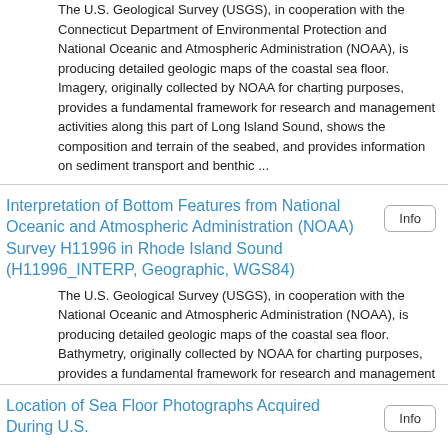The U.S. Geological Survey (USGS), in cooperation with the Connecticut Department of Environmental Protection and National Oceanic and Atmospheric Administration (NOAA), is producing detailed geologic maps of the coastal sea floor. Imagery, originally collected by NOAA for charting purposes, provides a fundamental framework for research and management activities along this part of Long Island Sound, shows the composition and terrain of the seabed, and provides information on sediment transport and benthic ...
Interpretation of Bottom Features from National Oceanic and Atmospheric Administration (NOAA) Survey H11996 in Rhode Island Sound (H11996_INTERP, Geographic, WGS84)
The U.S. Geological Survey (USGS), in cooperation with the National Oceanic and Atmospheric Administration (NOAA), is producing detailed geologic maps of the coastal sea floor. Bathymetry, originally collected by NOAA for charting purposes, provides a fundamental framework for research and management activities along this part of Rhode Island Sound, shows the composition and terrain of the seabed, and provides information on sediment transport and benthic habitat. Interpretations were derived from the ...
Location of Sea Floor Photographs Acquired During U.S.